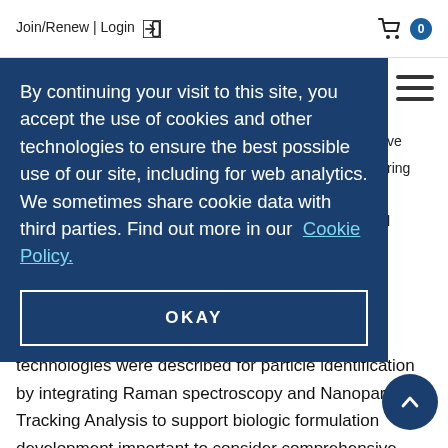Join/Renew | Login  🛒 0
By continuing your visit to this site, you accept the use of cookies and other technologies to ensure the best possible use of our site, including for web analytics. We sometimes share cookie data with third parties. Find out more in our Cookie Policy.
OKAY
technologies were described for particle identification by integrating Raman spectroscopy and Nanoparticle Tracking Analysis to support biologic formulation development important to consider comprehensive particle assess early on to enable proactive mitigation strategies. This means that in the long run, reactive investigations can be